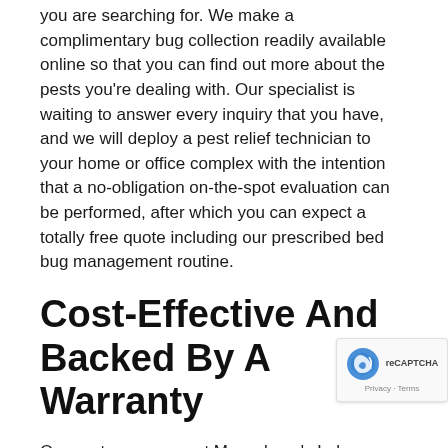you are searching for. We make a complimentary bug collection readily available online so that you can find out more about the pests you're dealing with. Our specialist is waiting to answer every inquiry that you have, and we will deploy a pest relief technician to your home or office complex with the intention that a no-obligation on-the-spot evaluation can be performed, after which you can expect a totally free quote including our prescribed bed bug management routine.
Cost-Effective And Backed By A Warranty
Our pest management Musselman's Lake interventions are all inexpensive. Why? Because this is not only a way of using competitive pricing to get clients: aside from insisting on having pest budget-friendly rates, also are of the opinion that pest relief is an important